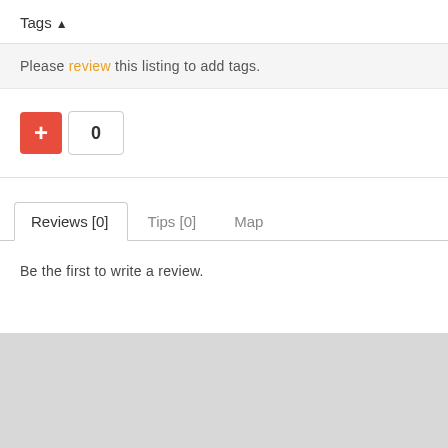Tags ▲
Please review this listing to add tags.
[Figure (other): A red plus button and a vote count badge showing 0]
Reviews [0]   Tips [0]   Map
Be the first to write a review.